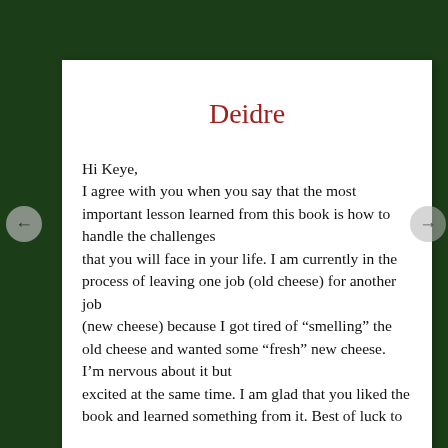Deidre
Hi Keye,
I agree with you when you say that the most important lesson learned from this book is how to handle the challenges that you will face in your life. I am currently in the process of leaving one job (old cheese) for another job (new cheese) because I got tired of “smelling” the old cheese and wanted some “fresh” new cheese. I’m nervous about it but excited at the same time. I am glad that you liked the book and learned something from it. Best of luck to